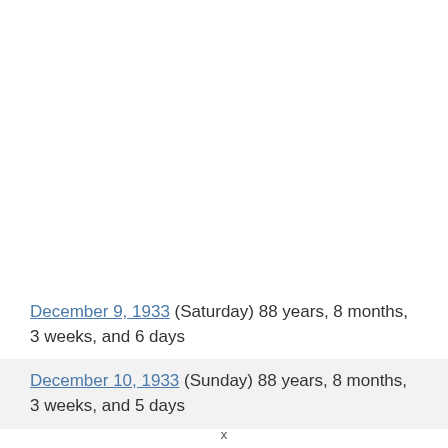December 9, 1933 (Saturday) 88 years, 8 months, 3 weeks, and 6 days
December 10, 1933 (Sunday) 88 years, 8 months, 3 weeks, and 5 days
x